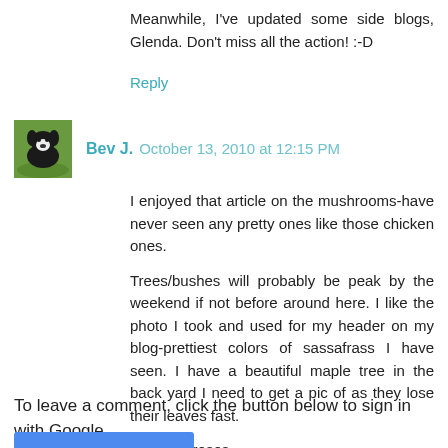Meanwhile, I've updated some side blogs, Glenda. Don't miss all the action! :-D
Reply
[Figure (photo): Avatar photo of a black and white dog on green grass]
Bev J.  October 13, 2010 at 12:15 PM
I enjoyed that article on the mushrooms-have never seen any pretty ones like those chicken ones.
Trees/bushes will probably be peak by the weekend if not before around here. I like the photo I took and used for my header on my blog-prettiest colors of sassafrass I have seen. I have a beautiful maple tree in the back yard I need to get a pic of as they lose their leaves fast.
Beautiful roses.
Reply
To leave a comment, click the button below to sign in with Google.